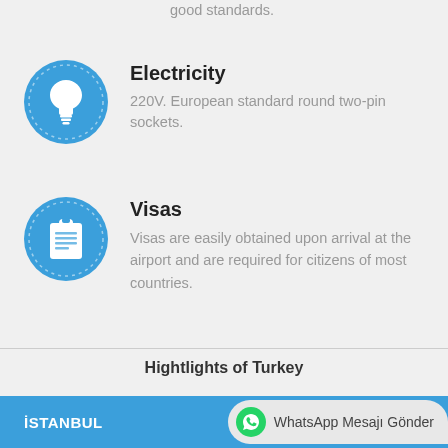good standards.
[Figure (illustration): Blue circular icon with dotted border and white lightbulb symbol]
Electricity
220V. European standard round two-pin sockets.
[Figure (illustration): Blue circular icon with dotted border and white clipboard symbol]
Visas
Visas are easily obtained upon arrival at the airport and are required for citizens of most countries.
Hightlights of Turkey
İSTANBUL
WhatsApp Mesajı Gönder